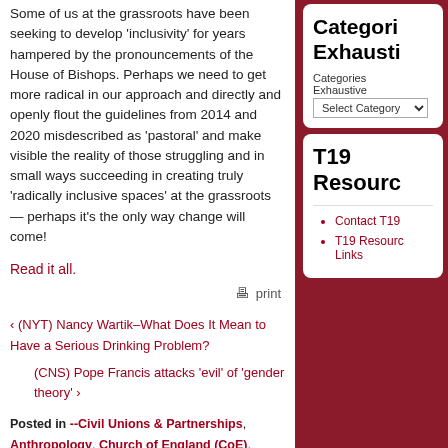Some of us at the grassroots have been seeking to develop 'inclusivity' for years hampered by the pronouncements of the House of Bishops. Perhaps we need to get more radical in our approach and directly and openly flout the guidelines from 2014 and 2020 misdescribed as 'pastoral' and make visible the reality of those struggling and in small ways succeeding in creating truly 'radically inclusive spaces' at the grassroots — perhaps it's the only way change will come!
Read it all.
print
‹ (NYT) Nancy Wartik–What Does It Mean to Have a Serious Drinking Problem?
(CNS) Pope Francis attacks 'evil' of 'gender theory' ›
Posted in --Civil Unions & Partnerships, Anthropology, Church of England (CoE), Ethics / Moral Theology, Parish Ministry, Pastoral Theology, Sexuality, Theology, Theology: Scripture
Categories Exhaustive
Categories Exhaustive
Select Category
T19 Resources
Contact T19
T19 Resource Links